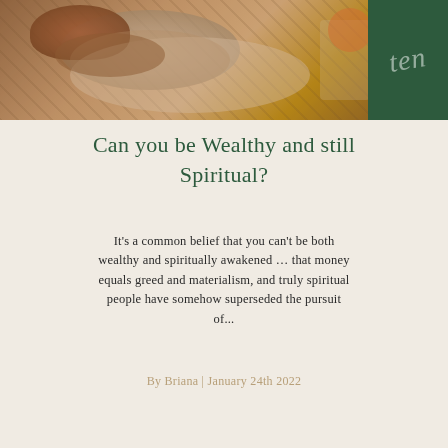[Figure (photo): Top image showing wooden plates, bowls and table setting with earthy tones, with a dark green overlay box in the top right corner containing stylized script text]
Can you be Wealthy and still Spiritual?
It's a common belief that you can't be both wealthy and spiritually awakened … that money equals greed and materialism, and truly spiritual people have somehow superseded the pursuit of...
By Briana | January 24th 2022
[Figure (photo): Bottom partial image showing a woman with long brown hair, light background, with dark green overlay box in the top right corner]